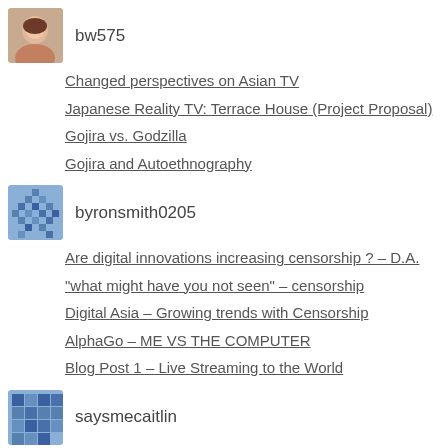bw575
Changed perspectives on Asian TV
Japanese Reality TV: Terrace House (Project Proposal)
Gojira vs. Godzilla
Gojira and Autoethnography
byronsmith0205
Are digital innovations increasing censorship ? – D.A.
“what might have you not seen” – censorship
Digital Asia – Growing trends with Censorship
AlphaGo – ME VS THE COMPUTER
Blog Post 1 – Live Streaming to the World
saysmecaitlin